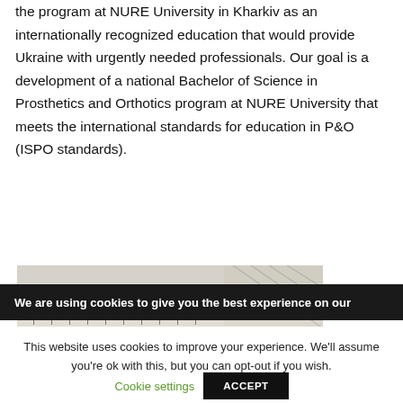the program at NURE University in Kharkiv as an internationally recognized education that would provide Ukraine with urgently needed professionals. Our goal is a development of a national Bachelor of Science in Prosthetics and Orthotics program at NURE University that meets the international standards for education in P&O (ISPO standards).
[Figure (photo): Partial view of a room interior, possibly a lab or workshop, showing what appears to be a horizontal rod or rail structure against a light-colored wall.]
We are using cookies to give you the best experience on our
This website uses cookies to improve your experience. We'll assume you're ok with this, but you can opt-out if you wish.
Cookie settings
ACCEPT